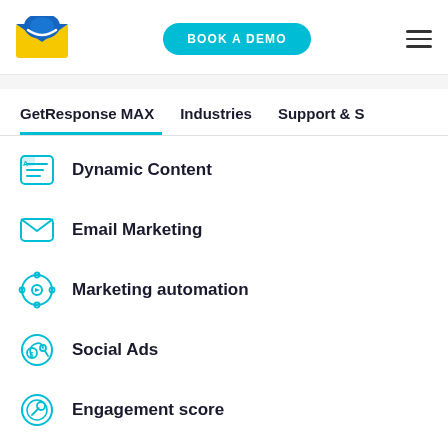[Figure (logo): GetResponse envelope logo with blue and yellow colors]
BOOK A DEMO
[Figure (other): Hamburger menu icon with three horizontal lines]
GetResponse MAX
Industries
Support & S
Dynamic Content
Email Marketing
Marketing automation
Social Ads
Engagement score